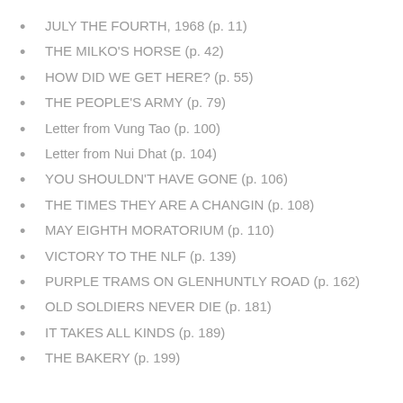JULY THE FOURTH, 1968 (p. 11)
THE MILKO'S HORSE (p. 42)
HOW DID WE GET HERE? (p. 55)
THE PEOPLE'S ARMY (p. 79)
Letter from Vung Tao (p. 100)
Letter from Nui Dhat (p. 104)
YOU SHOULDN'T HAVE GONE (p. 106)
THE TIMES THEY ARE A CHANGIN (p. 108)
MAY EIGHTH MORATORIUM (p. 110)
VICTORY TO THE NLF (p. 139)
PURPLE TRAMS ON GLENHUNTLY ROAD (p. 162)
OLD SOLDIERS NEVER DIE (p. 181)
IT TAKES ALL KINDS (p. 189)
THE BAKERY (p. 199)